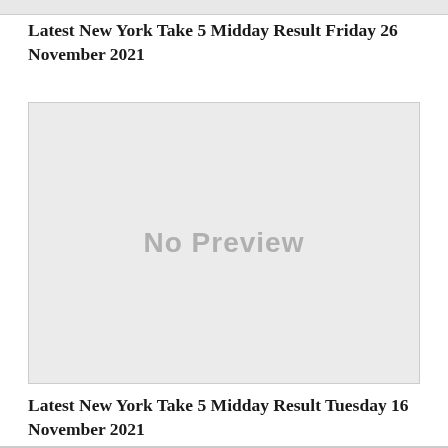Latest New York Take 5 Midday Result Friday 26 November 2021
[Figure (other): No Preview placeholder image with light gray background]
Latest New York Take 5 Midday Result Tuesday 16 November 2021